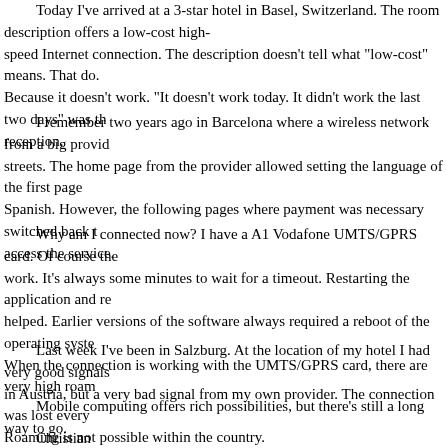Today I've arrived at a 3-star hotel in Basel, Switzerland. The room description offers a low-cost high-speed Internet connection. The description doesn't tell what "low-cost" means. That do. Because it doesn't work. "It doesn't work today. It didn't work the last two days" was the answer from reception.
I remember two years ago in Barcelona where a wireless network from a big provider covered many streets. The home page from the provider allowed setting the language of the first page to Spanish. However, the following pages where payment was necessary switched back to access the service.
Why am I connected now? I have a A1 Vodafone UMTS/GPRS card. Of course the connection doesn't always work. It's always some minutes to wait for a timeout. Restarting the application and re-connecting helped. Earlier versions of the software always required a reboot of the operating system. When the connection is working with the UMTS/GPRS card, there are very high roam
Last week I've been in Salzburg. At the location of my hotel I had very good signals from other providers in Austria, but a very bad signal from my own provider. The connection was lost every Roaming is not possible within the country.
Mobile computing offers rich possibilities, but there's still a long way to go.
Christian